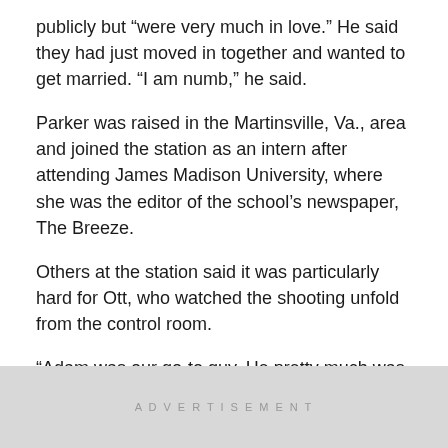publicly but “were very much in love.” He said they had just moved in together and wanted to get married. “I am numb,” he said.
Parker was raised in the Martinsville, Va., area and joined the station as an intern after attending James Madison University, where she was the editor of the school’s newspaper, The Breeze.
Others at the station said it was particularly hard for Ott, who watched the shooting unfold from the control room.
“Adam was our go-to guy. He pretty much was available to do anything that we asked,” said WDBJ spokesman Mike Morgan. “He did live shots during our morning show for several years.”
ADVERTISEMENT